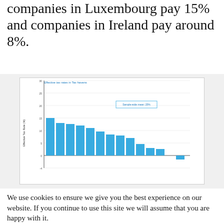companies in Luxembourg pay 15% and companies in Ireland pay around 8%.
[Figure (bar-chart): Effective tax rates in Tax havens]
We use cookies to ensure we give you the best experience on our website. If you continue to use this site we will assume that you are happy with it.
Privacy Policy  OK